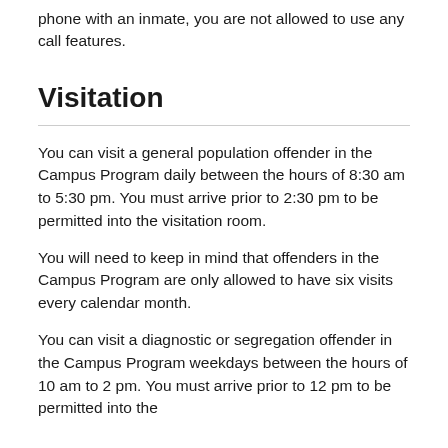phone with an inmate, you are not allowed to use any call features.
Visitation
You can visit a general population offender in the Campus Program daily between the hours of 8:30 am to 5:30 pm. You must arrive prior to 2:30 pm to be permitted into the visitation room.
You will need to keep in mind that offenders in the Campus Program are only allowed to have six visits every calendar month.
You can visit a diagnostic or segregation offender in the Campus Program weekdays between the hours of 10 am to 2 pm. You must arrive prior to 12 pm to be permitted into the